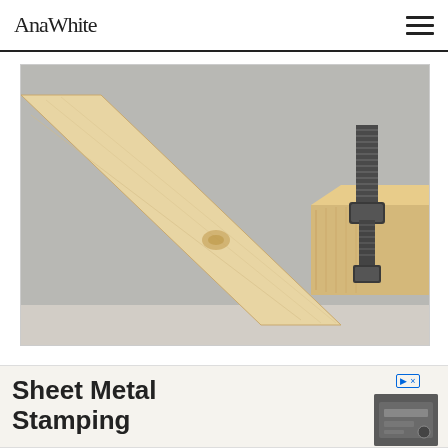AnaWhite
[Figure (photo): Close-up photo of wooden furniture joint or sawhorse with a metal bolt/screw clamp assembly, light-colored wood against gray background]
[Figure (photo): Advertisement banner for Sheet Metal Stamping with product image thumbnail on the right showing metal stamping equipment]